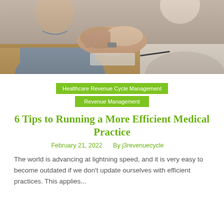[Figure (photo): Two people shaking hands across a desk, business/healthcare meeting setting]
Healthcare Revenue Cycle Management
Revenue Management
6 Tips to Running a More Efficient Medical Practice
February 21, 2022    By j3revenuecycle
The world is advancing at lightning speed, and it is very easy to become outdated if we don't update ourselves with efficient practices. This applies...